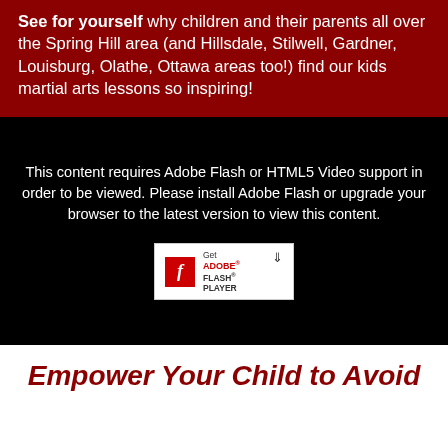See for yourself why children and their parents all over the Spring Hill area (and Hillsdale, Stilwell, Gardner, Louisburg, Olathe, Ottawa areas too!) find our kids martial arts lessons so inspiring!
This content requires Adobe Flash or HTML5 Video support in order to be viewed. Please install Adobe Flash or upgrade your browser to the latest version to view this content.
[Figure (other): Get Adobe Flash Player badge/button with red Flash logo icon and download arrow]
Empower Your Child to Avoid